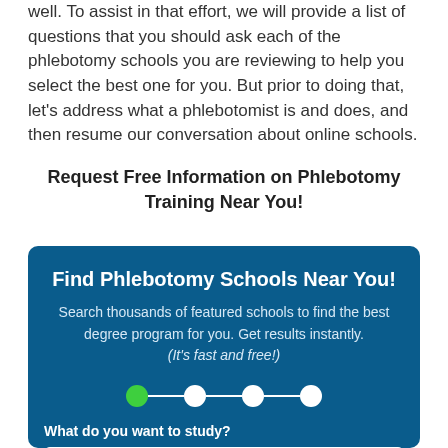well. To assist in that effort, we will provide a list of questions that you should ask each of the phlebotomy schools you are reviewing to help you select the best one for you. But prior to doing that, let's address what a phlebotomist is and does, and then resume our conversation about online schools.
Request Free Information on Phlebotomy Training Near You!
[Figure (infographic): Dark blue card widget for finding phlebotomy schools. Contains title 'Find Phlebotomy Schools Near You!', descriptive text, a step progress indicator with 4 circles (first green, rest white) connected by lines, a label 'What do you want to study?' and a white dropdown showing 'Health & Medical / Nursing' with a down arrow.]